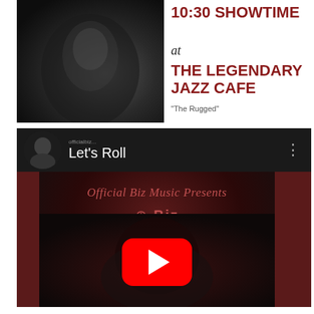[Figure (photo): Dark moody portrait photo on dark background, left side of top section]
10:30 SHOWTIME
at
THE LEGENDARY JAZZ CAFE
"The Rugged"
[Figure (screenshot): YouTube video embed showing 'Let's Roll' video by Official Biz Music, with channel thumbnail, three-dot menu, video thumbnail showing man in cap with YouTube play button overlay, and dark brown side bars]